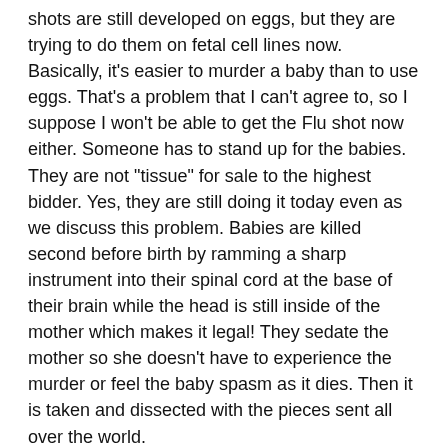shots are still developed on eggs, but they are trying to do them on fetal cell lines now.  Basically, it's easier to murder a baby than to use eggs.  That's a problem that I can't agree to, so I suppose I won't be able to get the Flu shot now either.  Someone has to stand up for the babies.  They are not "tissue" for sale to the highest bidder.  Yes, they are still doing it today even as we discuss this problem.  Babies are killed second before birth by ramming a sharp instrument into their spinal cord at the base of their brain while the head is still inside of the mother which makes it legal!  They sedate the mother so she doesn't have to experience the murder or feel the baby spasm as it dies.  Then it is taken and dissected with the pieces sent all over the world.
Feel good about being a part of this sin?  I'm still sick and not sleeping properly because I found that some of my medications were also developed on fetal cell lines.  I am working to get off of all I can and will do without the rest.  There are herbals that will do the exact same thing but they can't make money on them!!!!  Add to that, aspirin, Tylenol and Ibuprophen are all developed on fetal cell lines.